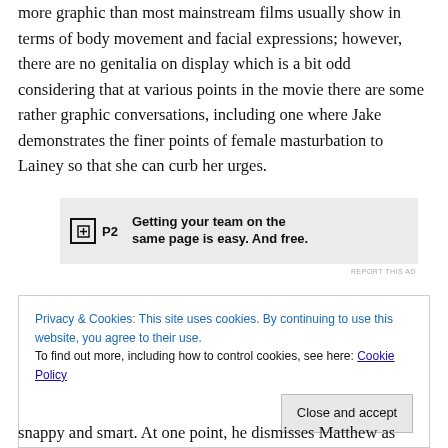more graphic than most mainstream films usually show in terms of body movement and facial expressions; however, there are no genitalia on display which is a bit odd considering that at various points in the movie there are some rather graphic conversations, including one where Jake demonstrates the finer points of female masturbation to Lainey so that she can curb her urges.
[Figure (other): Advertisement banner for P2 with logo and text 'Getting your team on the same page is easy. And free.']
REPORT THIS AD
Privacy & Cookies: This site uses cookies. By continuing to use this website, you agree to their use.
To find out more, including how to control cookies, see here: Cookie Policy
Close and accept
snappy and smart. At one point, he dismisses Matthew as